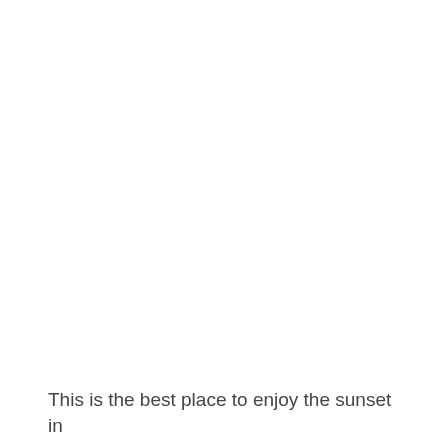This is the best place to enjoy the sunset in